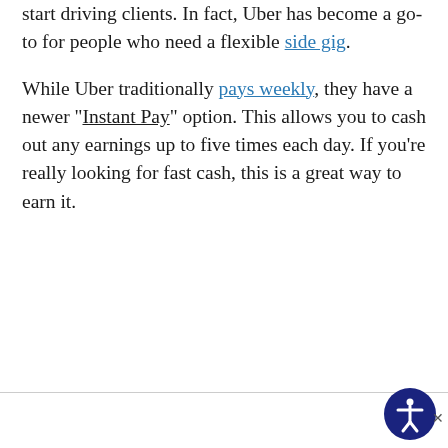start driving clients. In fact, Uber has become a go-to for people who need a flexible side gig. While Uber traditionally pays weekly, they have a newer “Instant Pay” option. This allows you to cash out any earnings up to five times each day. If you’re really looking for fast cash, this is a great way to earn it.